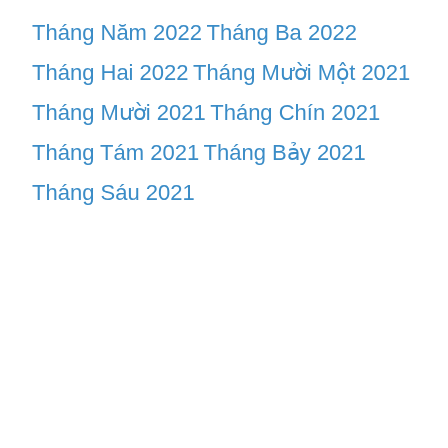Tháng Năm 2022
Tháng Ba 2022
Tháng Hai 2022
Tháng Mười Một 2021
Tháng Mười 2021
Tháng Chín 2021
Tháng Tám 2021
Tháng Bảy 2021
Tháng Sáu 2021